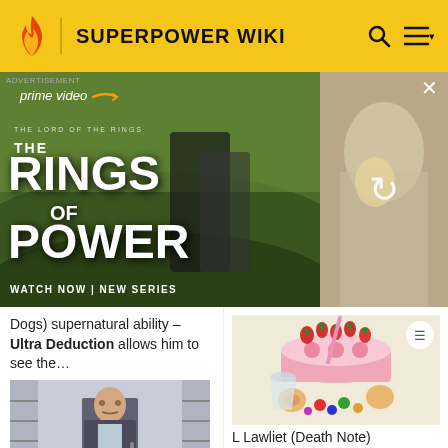SUPERPOWER WIKI
[Figure (screenshot): Amazon Prime Video advertisement for 'The Rings of Power' - The Lord of the Rings series, showing characters and 'WATCH NOW | NEW SERIES' text, with a secondary video panel on the right showing a group scene with a reload icon]
Dogs) supernatural ability – Ultra Deduction allows him to see the…
[Figure (photo): Photo of Hugh Laurie as Dr. House standing in a pharmacy/medical supply area holding a cane, wearing a suit]
[Figure (illustration): Anime/manga illustration of L Lawliet (Death Note) surrounded by sweets - a pink cake with strawberries, cookies, candies and other desserts]
L Lawliet (Death Note)
[Figure (screenshot): Teal/green colored partial image at the bottom right of the page - partially visible]